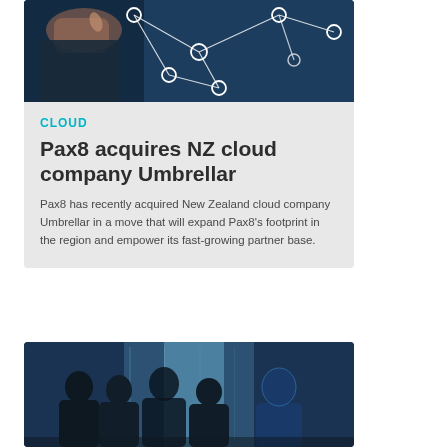[Figure (photo): Dark blue background showing a person in a suit touching a network diagram with connected nodes and lines, illustrated in white/light tones.]
CLOUD
Pax8 acquires NZ cloud company Umbrellar
Pax8 has recently acquired New Zealand cloud company Umbrellar in a move that will expand Pax8's footprint in the region and empower its fast-growing partner base.
[Figure (photo): Silhouettes of business people in a meeting or group discussion, with blue-toned digital/tech background imagery.]